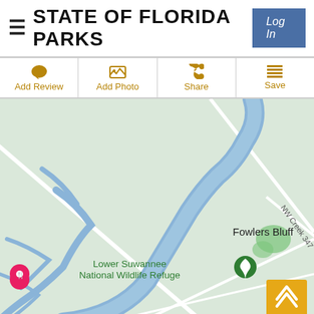STATE OF FLORIDA PARKS
Log In
Add Review
Add Photo
Share
Save
[Figure (map): Google Maps view showing the Suwannee River winding through a light green landscape. Labels include 'Fowlers Bluff' in the upper right, 'Lower Suwannee National Wildlife Refuge' with a green tree pin in the center-left, a road labeled 'NW Creek 347', and a pink location pin on the left side. Roads appear as white lines on the light green terrain.]